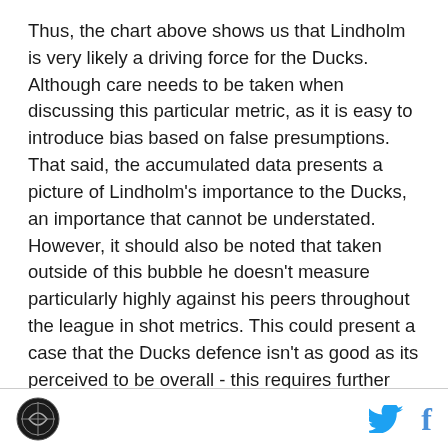Thus, the chart above shows us that Lindholm is very likely a driving force for the Ducks. Although care needs to be taken when discussing this particular metric, as it is easy to introduce bias based on false presumptions. That said, the accumulated data presents a picture of Lindholm's importance to the Ducks, an importance that cannot be understated. However, it should also be noted that taken outside of this bubble he doesn't measure particularly highly against his peers throughout the league in shot metrics. This could present a case that the Ducks defence isn't as good as its perceived to be overall - this requires further analysis and is presented as a
[logo] [twitter] [facebook]